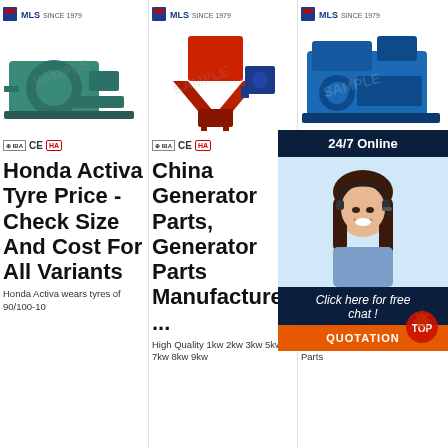[Figure (photo): Industrial machinery product image 1 (teal/green colored pump machine) with MLS brand logo above and CE/HA certification badges below]
Honda Activa Tyre Price - Check Size And Cost For All Variants
Honda Activa wears tyres of 90/100-10
[Figure (photo): Industrial machinery product image 2 (red colored hopper/blower machine) with MLS brand logo above and CE/HA certification badges below]
China Generator Parts, Generator Parts Manufacturers ...
High Quality 1kw 2kw 3kw 5kw 7kw 8kw 9kw
[Figure (photo): Industrial machinery product image 3 (blue colored machine) with MLS brand logo above and partial cert badge, overlaid with 24/7 Online chat agent popup showing woman with headset]
Two Wheeler, Motorcycle Prices
Parts & Accessories. Genuine Parts
[Figure (screenshot): Chat overlay popup with 24/7 Online banner, female agent with headset photo, Click here for free chat text, and orange QUOTATION button with TOP badge]